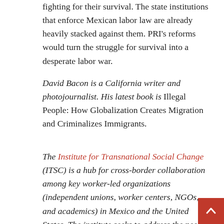fighting for their survival.  The state institutions that enforce Mexican labor law are already heavily stacked against them.  PRI's reforms would turn the struggle for survival into a desperate labor war.
David Bacon is a California writer and photojournalist. His latest book is Illegal People: How Globalization Creates Migration and Criminalizes Immigrants.
The Institute for Transnational Social Change (ITSC) is a hub for cross-border collaboration among key worker-led organizations (independent unions, worker centers, NGOs, and academics) in Mexico and the United States.  The institute seeks to address the needs of a low-wage workforce